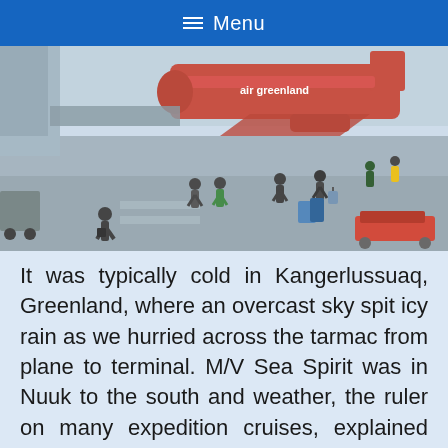≡ Menu
[Figure (photo): Aerial view of an airport tarmac in Kangerlussuaq, Greenland. A red Air Greenland aircraft is parked at the terminal. Several passengers are walking across the tarmac carrying luggage in overcast, cold weather. A baggage cart is visible in the lower right.]
It was typically cold in Kangerlussuaq, Greenland, where an overcast sky spit icy rain as we hurried across the tarmac from plane to terminal. M/V Sea Spirit was in Nuuk to the south and weather, the ruler on many expedition cruises, explained why the country's primary airport was at a former World War II U.S. military base instead of the capital. Planes can get into Kangerlussuaq almost 300 days a